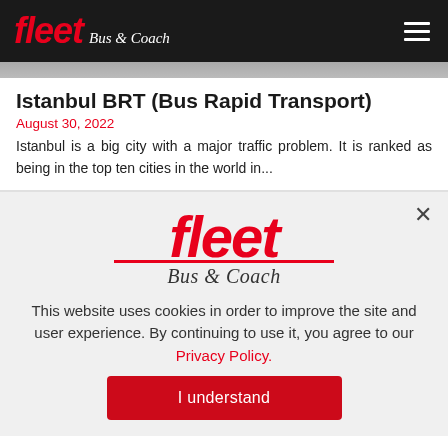fleet Bus & Coach
[Figure (photo): Partial article header image, cropped bus/transport scene]
Istanbul BRT (Bus Rapid Transport)
August 30, 2022
Istanbul is a big city with a major traffic problem. It is ranked as being in the top ten cities in the world in...
[Figure (logo): Fleet Bus & Coach logo in red with italic script subtitle, with red underline]
This website uses cookies in order to improve the site and user experience. By continuing to use it, you agree to our Privacy Policy.
I understand